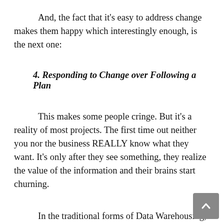And, the fact that it's easy to address change makes them happy which interestingly enough, is the next one:
4. Responding to Change over Following a Plan
This makes some people cringe. But it's a reality of most projects. The first time out neither you nor the business REALLY know what they want. It's only after they see something, they realize the value of the information and their brains start churning.
In the traditional forms of Data Warehousing, it takes scoping, project budgeting, planning, resource allocation and other fun stuff before you